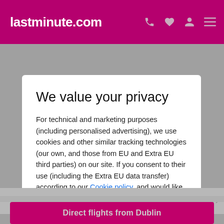lastminute.com
We value your privacy
For technical and marketing purposes (including personalised advertising), we use cookies and other similar tracking technologies (our own, and those from EU and Extra EU third parties) on our site. If you consent to their use (including the Extra EU data transfer) according to our Cookie policy, and would like to continue, please click "Accept all".
Go to Review settings to update your preferences, including in regard to the data transfer in Extra-EU countries, or click here to continue without non mandatory cookies.
ACCEPT ALL
Direct flights from Dublin